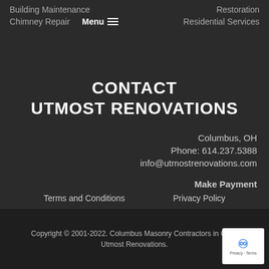Restoration | Building Maintenance | Residential Services | Chimney Repair
Menu
CONTACT UTMOST RENOVATIONS
Columbus, OH
Phone: 614.237.5388
info@utmostrenovations.com
Make Payment
Terms and Conditions
Privacy Policy
Copyright © 2001-2022. Columbus Masonry Contractors in Ohio. Utmost Renovations.